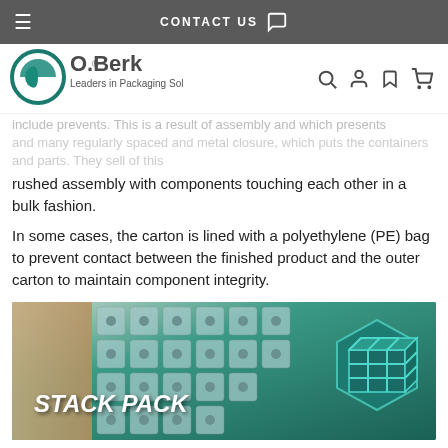CONTACT US
[Figure (logo): O.Berk logo with tagline 'Leaders in Packaging Solutions']
rushed assembly with components touching each other in a bulk fashion.
In some cases, the carton is lined with a polyethylene (PE) bag to prevent contact between the finished product and the outer carton to maintain component integrity.
[Figure (photo): Stack Pack promotional banner image showing stacked metal components/bottles in teal packaging with a 3D cube logo icon and bold italic text 'STACK PACK']
Stack Packing is another method utilized in the packaging industry that offers a more uniform style of packing. This method can be for packing finished plastic bottles and jars but can be used for metal packaging as